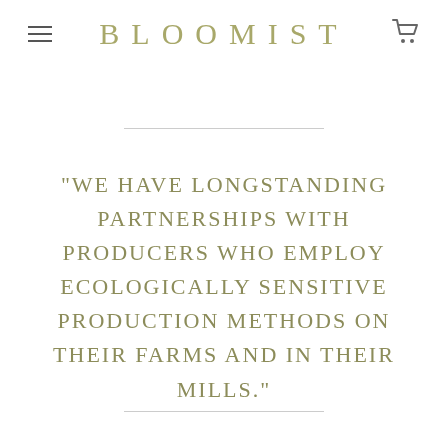BLOOMIST
"WE HAVE LONGSTANDING PARTNERSHIPS WITH PRODUCERS WHO EMPLOY ECOLOGICALLY SENSITIVE PRODUCTION METHODS ON THEIR FARMS AND IN THEIR MILLS."